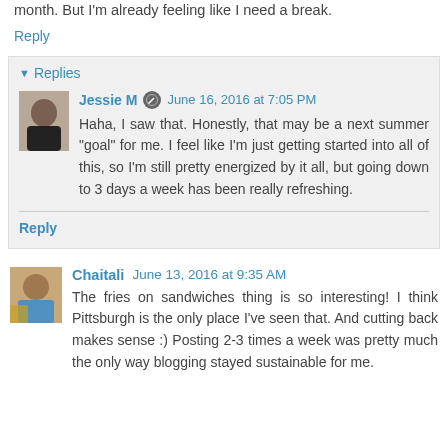month. But I'm already feeling like I need a break.
Reply
Replies
Jessie M  June 16, 2016 at 7:05 PM
Haha, I saw that. Honestly, that may be a next summer "goal" for me. I feel like I'm just getting started into all of this, so I'm still pretty energized by it all, but going down to 3 days a week has been really refreshing.
Reply
Chaitali  June 13, 2016 at 9:35 AM
The fries on sandwiches thing is so interesting! I think Pittsburgh is the only place I've seen that. And cutting back makes sense :) Posting 2-3 times a week was pretty much the only way blogging stayed sustainable for me.